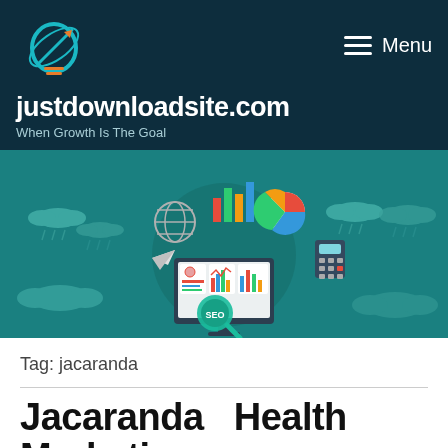[Figure (logo): justdownloadsite.com logo — light bulb with rocket/arrow icon in blue, orange, teal colors]
justdownloadsite.com
When Growth Is The Goal
[Figure (illustration): SEO/digital marketing banner illustration with teal background, clouds, a monitor showing analytics dashboards, charts (bar, pie), globe, paper plane, magnifying glass with SEO text, calculator, rain clouds]
Tag: jacaranda
Jacaranda Health Marketing